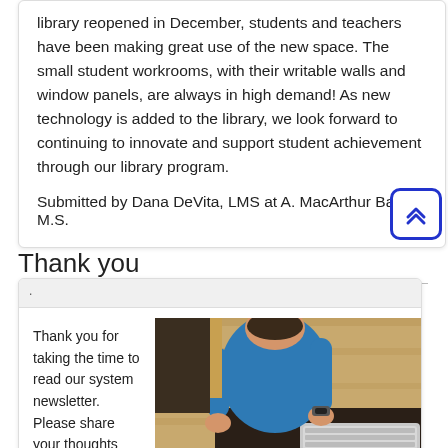library reopened in December, students and teachers have been making great use of the new space. The small student workrooms, with their writable walls and window panels, are always in high demand! As new technology is added to the library, we look forward to continuing to innovate and support student achievement through our library program.

Submitted by Dana DeVita, LMS at A. MacArthur Barr M.S.
[Figure (other): Blue rounded square button with double up-chevron arrows icon]
Thank you
.
Thank you for taking the time to read our system newsletter. Please share your thoughts using this link:
[Figure (photo): Overhead photo of a person in a blue shirt sitting at a dark desk with a keyboard and mouse, on a wooden floor background]